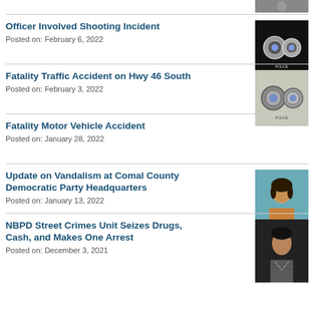Officer Involved Shooting Incident
Posted on: February 6, 2022
Fatality Traffic Accident on Hwy 46 South
Posted on: February 3, 2022
Fatality Motor Vehicle Accident
Posted on: January 28, 2022
Update on Vandalism at Comal County Democratic Party Headquarters
Posted on: January 13, 2022
NBPD Street Crimes Unit Seizes Drugs, Cash, and Makes One Arrest
Posted on: December 3, 2021